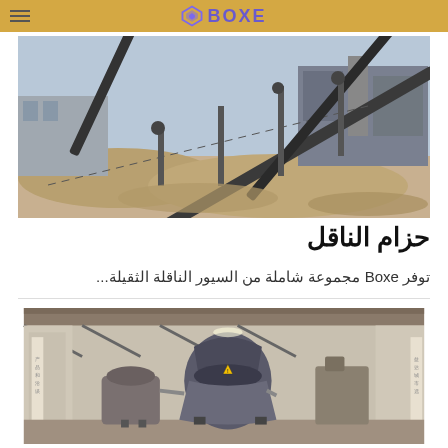BOXE
[Figure (photo): Industrial conveyor belt system at a mining/quarry site with multiple inclined belt conveyors, steel structures, and piles of aggregate material]
حزام الناقل
توفر Boxe مجموعة شاملة من السيور الناقلة الثقيلة...
[Figure (photo): Industrial crusher or cone crusher machine inside a warehouse/factory building with Chinese signage on the walls]